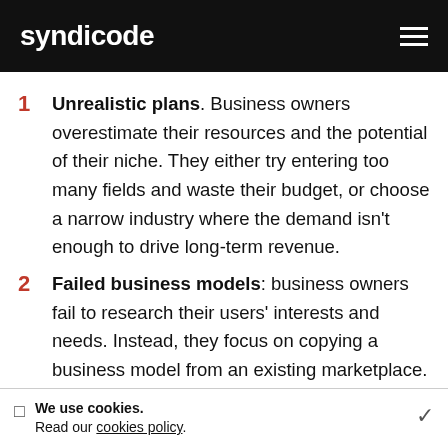syndicode
1  Unrealistic plans. Business owners overestimate their resources and the potential of their niche. They either try entering too many fields and waste their budget, or choose a narrow industry where the demand isn't enough to drive long-term revenue.
2  Failed business models: business owners fail to research their users' interests and needs. Instead, they focus on copying a business model from an existing marketplace. This is why we see so many unsuccessful "Uber but for
We use cookies.
Read our cookies policy.